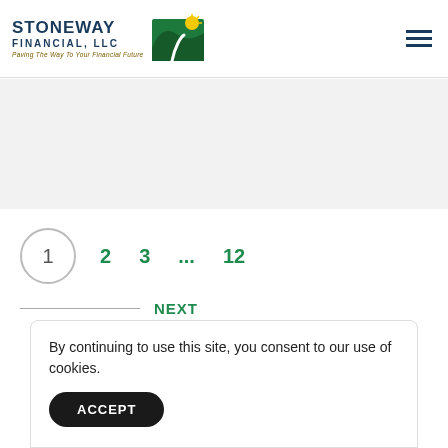[Figure (logo): Stoneway Financial LLC logo with green hill/path graphic and tagline 'Paving The Way To Your Financial Future']
1  2  3  ...  12
NEXT
By continuing to use this site, you consent to our use of cookies.